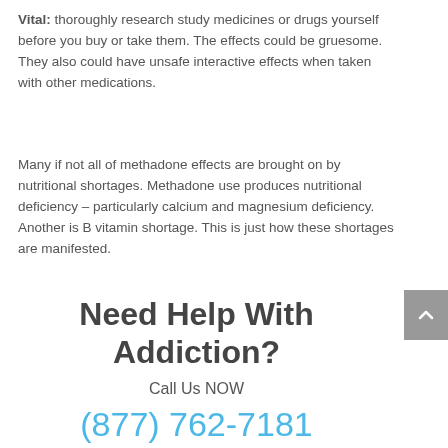Vital: thoroughly research study medicines or drugs yourself before you buy or take them. The effects could be gruesome. They also could have unsafe interactive effects when taken with other medications.
Many if not all of methadone effects are brought on by nutritional shortages. Methadone use produces nutritional deficiency – particularly calcium and magnesium deficiency. Another is B vitamin shortage. This is just how these shortages are manifested.
Need Help With Addiction?
Call Us NOW
(877) 762-7181